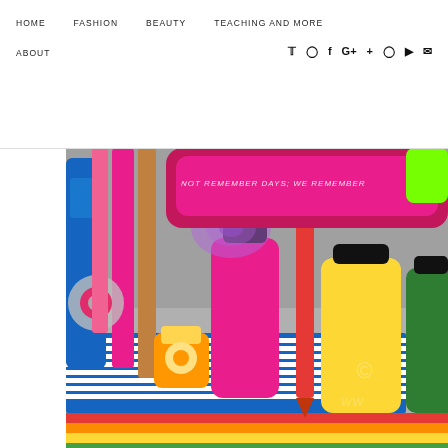HOME   FASHION   BEAUTY   TEACHING AND MORE   ABOUT
[Figure (photo): Colorful school and art supplies including paint bottles (pink, yellow, green), crayons (red), tape dispensers, glitter items, arranged on a striped surface. A pink case with text 'NOT REMEMBER DAYS; WE REMEMBER...' is visible. Watermark 'WW...' and copyright symbol in bottom right corner.]